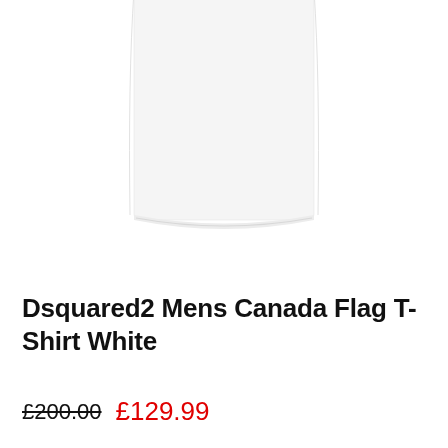[Figure (photo): Partial view of a white t-shirt (bottom portion), cropped product photo on white background]
Dsquared2 Mens Canada Flag T-Shirt White
£200.00  £129.99